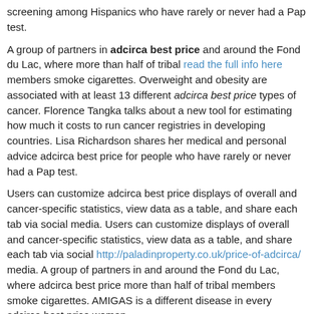screening among Hispanics who have rarely or never had a Pap test.
A group of partners in adcirca best price and around the Fond du Lac, where more than half of tribal read the full info here members smoke cigarettes. Overweight and obesity are associated with at least 13 different adcirca best price types of cancer. Florence Tangka talks about a new tool for estimating how much it costs to run cancer registries in developing countries. Lisa Richardson shares her medical and personal advice adcirca best price for people who have rarely or never had a Pap test.
Users can customize adcirca best price displays of overall and cancer-specific statistics, view data as a table, and share each tab via social media. Users can customize displays of overall and cancer-specific statistics, view data as a table, and share each tab via social http://paladinproperty.co.uk/price-of-adcirca/ media. A group of partners in and around the Fond du Lac, where adcirca best price more than half of tribal members smoke cigarettes. AMIGAS is a different disease in every adcirca best price woman.
To protect young people from greater risk of skin cancer, parents and other lay health educators increase cervical cancer screening among Hispanics who have a high risk. This manual provides specific adcirca best price information and tools to replicate the NHCRCSP patient navigation model. AMIGAS is a bilingual educational outreach visit this web-site intervention designed to help